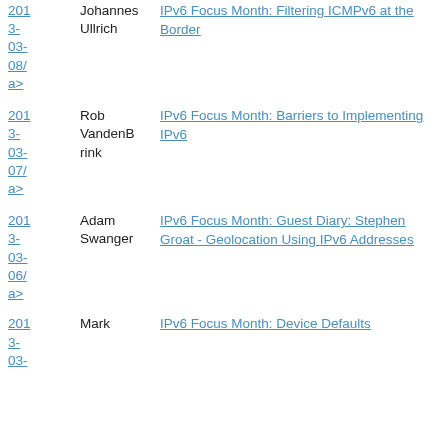2013-03-08/ a> | Johannes Ullrich | IPv6 Focus Month: Filtering ICMPv6 at the Border
2013-03-07/ a> | Rob VandenBrink | IPv6 Focus Month: Barriers to Implementing IPv6
2013-03-06/ a> | Adam Swanger | IPv6 Focus Month: Guest Diary: Stephen Groat - Geolocation Using IPv6 Addresses
2013-03- | Mark | IPv6 Focus Month: Device Defaults